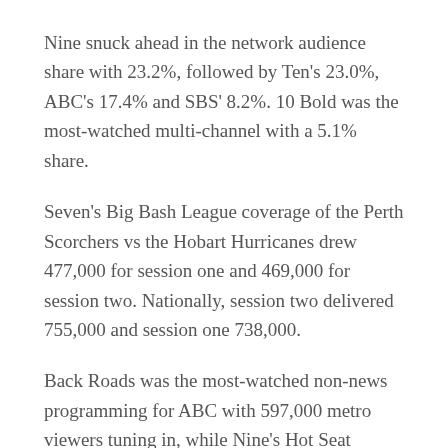Nine snuck ahead in the network audience share with 23.2%, followed by Ten's 23.0%, ABC's 17.4% and SBS' 8.2%. 10 Bold was the most-watched multi-channel with a 5.1% share.
Seven's Big Bash League coverage of the Perth Scorchers vs the Hobart Hurricanes drew 477,000 for session one and 469,000 for session two. Nationally, session two delivered 755,000 and session one 738,000.
Back Roads was the most-watched non-news programming for ABC with 597,000 metro viewers tuning in, while Nine's Hot Seat delivered 447,000. The Project brought in 481,000 for Ten.